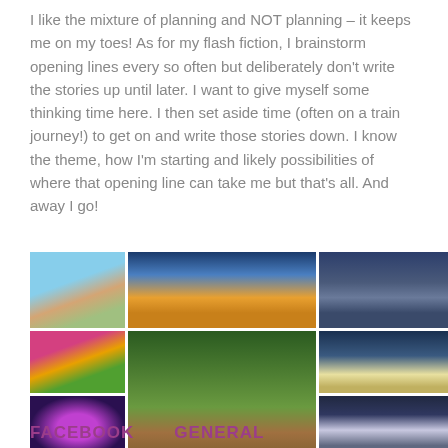I like the mixture of planning and NOT planning – it keeps me on my toes! As for my flash fiction, I brainstorm opening lines every so often but deliberately don't write the stories up until later. I want to give myself some thinking time here. I then set aside time (often on a train journey!) to get on and write those stories down. I know the theme, how I'm starting and likely possibilities of where that opening line can take me but that's all. And away I go!
[Figure (photo): Grid of six nature/sky photos: hand holding lightbulb against sky, beach sunset, dark cloudy sky over water, colorful flowers/trees, tree-lined pathway, stormy dramatic clouds. Also galaxy/space photo and dark sky.]
FACEBOOK    GENERAL